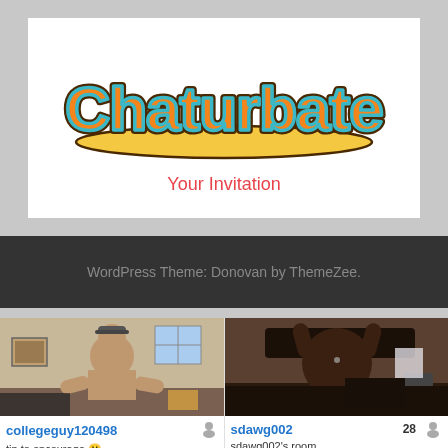[Figure (logo): Chaturbate logo with orange graffiti-style text on yellow banner with dark outline]
Your Invitation
WordPress Theme: Donovan by ThemeZee.
[Figure (photo): Webcam thumbnail of collegeguy120498]
collegeguy120498
tip to encourage 😊
3.6 hrs 1459 viewers
[Figure (photo): Webcam thumbnail of sdawg002]
sdawg002 28
sdawg002's room
2.9 hrs 1122 viewers